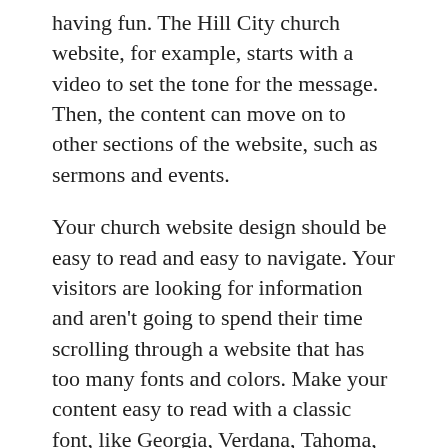having fun. The Hill City church website, for example, starts with a video to set the tone for the message. Then, the content can move on to other sections of the website, such as sermons and events.
Your church website design should be easy to read and easy to navigate. Your visitors are looking for information and aren't going to spend their time scrolling through a website that has too many fonts and colors. Make your content easy to read with a classic font, like Georgia, Verdana, Tahoma, or Times New Roman. Choose a font with one or two different styles so that it matches your church's brand colors.
Church website design should be